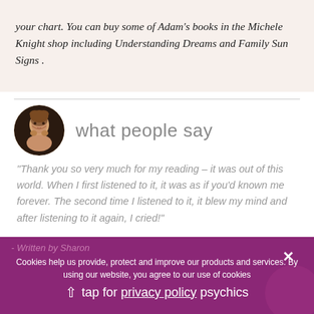your chart. You can buy some of Adam's books in the Michele Knight shop including Understanding Dreams and Family Sun Signs .
what people say
“Thank you so very much for my reading – it was out of this world. When I first listened to it, it was as if you'd known me forever. The second time I listened to it, it blew my mind and after listening to it again, I cried!”
- Written by Sharon
Cookies help us provide, protect and improve our products and services. By using our website, you agree to our use of cookies
privacy policy
tap for psychics